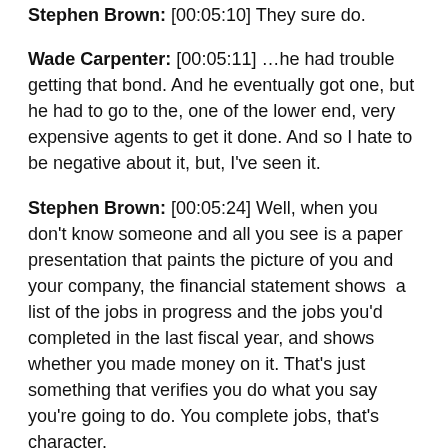Stephen Brown: [00:05:10] They sure do.
Wade Carpenter: [00:05:11] …he had trouble getting that bond. And he eventually got one, but he had to go to the, one of the lower end, very expensive agents to get it done. And so I hate to be negative about it, but, I've seen it.
Stephen Brown: [00:05:24] Well, when you don't know someone and all you see is a paper presentation that paints the picture of you and your company, the financial statement shows  a list of the jobs in progress and the jobs you'd completed in the last fiscal year, and shows whether you made money on it. That's just something that verifies you do what you say you're going to do. You complete jobs, that's character.
Rob Williams: [00:05:47] I guess I did understand that you have to complete your jobs. So I know that